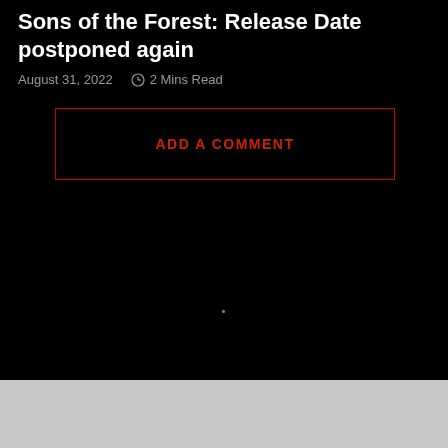Sons of the Forest: Release Date postponed again
August 31, 2022   2 Mins Read
ADD A COMMENT